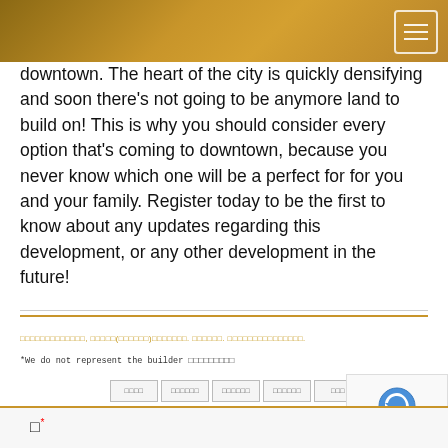[header bar with menu icon]
downtown. The heart of the city is quickly densifying and soon there’s not going to be anymore land to build on! This is why you should consider every option that’s coming to downtown, because you never know which one will be a perfect for for you and your family. Register today to be the first to know about any updates regarding this development, or any other development in the future!
□□□□□□□□□□□□□, □□□□□(□□□□□□)□□□□□□□. □□□□□□. □□□□□□□□□□□□□□□.
*We do not represent the builder □□□□□□□□□
□□□□
□□□□□□
□□□□□□
□□□□□□
□□□
□□□□□□